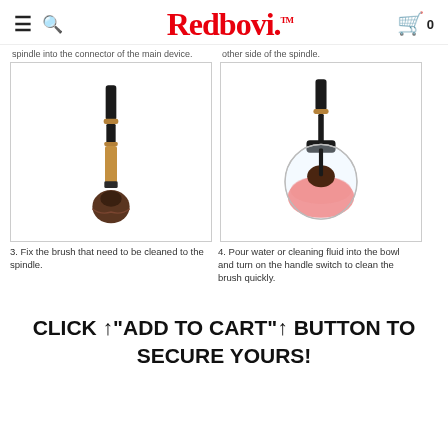Redbovi. [logo with hamburger, search, and cart icons]
spindle into the connector of the main device.
other side of the spindle.
[Figure (photo): A makeup brush attached to a spindle/device handle, shown vertically — the brush head is at the bottom with rose gold metal handle above.]
3. Fix the brush that need to be cleaned to the spindle.
[Figure (photo): A makeup brush cleaning device with a glass bowl filled with pink/red cleaning fluid, with the brush submerged inside the bowl and the black handle extending upward.]
4. Pour water or cleaning fluid into the bowl and turn on the handle switch to clean the brush quickly.
CLICK ↑"ADD TO CART"↑ BUTTON TO SECURE YOURS!